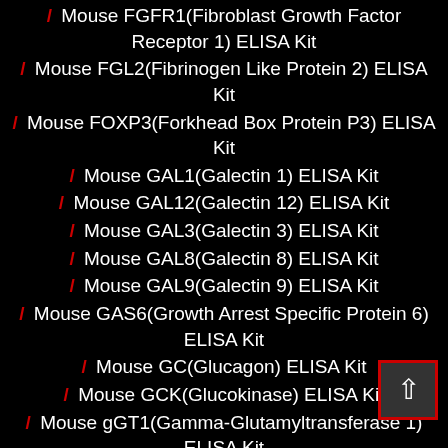/ Mouse FGFR1(Fibroblast Growth Factor Receptor 1) ELISA Kit
/ Mouse FGL2(Fibrinogen Like Protein 2) ELISA Kit
/ Mouse FOXP3(Forkhead Box Protein P3) ELISA Kit
/ Mouse GAL1(Galectin 1) ELISA Kit
/ Mouse GAL12(Galectin 12) ELISA Kit
/ Mouse GAL3(Galectin 3) ELISA Kit
/ Mouse GAL8(Galectin 8) ELISA Kit
/ Mouse GAL9(Galectin 9) ELISA Kit
/ Mouse GAS6(Growth Arrest Specific Protein 6) ELISA Kit
/ Mouse GC(Glucagon) ELISA Kit
/ Mouse GCK(Glucokinase) ELISA Kit
/ Mouse gGT1(Gamma-Glutamyltransferase 1) ELISA Kit
/ Mouse GPC4(Glypican 4) ELISA Kit
/ Mouse GPX1(Glutathione Peroxidase 1) ELISA Kit
/ Mouse GS(Gelsolin) ELISA Kit
/ Mouse GT(Gastrin) ELISA Kit